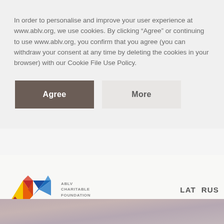In order to personalise and improve your user experience at www.ablv.org, we use cookies. By clicking "Agree" or continuing to use www.ablv.org, you confirm that you agree (you can withdraw your consent at any time by deleting the cookies in your browser) with our Cookie File Use Policy.
[Figure (other): Two buttons: 'Agree' (dark brown/grey background, white text) and 'More' (light grey background, dark text)]
[Figure (logo): ABLV Charitable Foundation logo — colorful geometric triangular shapes forming letters AB with a blue chevron, beside text 'ABLV CHARITABLE FOUNDATION']
LAT  RUS
[Figure (photo): Partial photo visible at bottom of page, appears to show blurred artistic/cultural imagery]